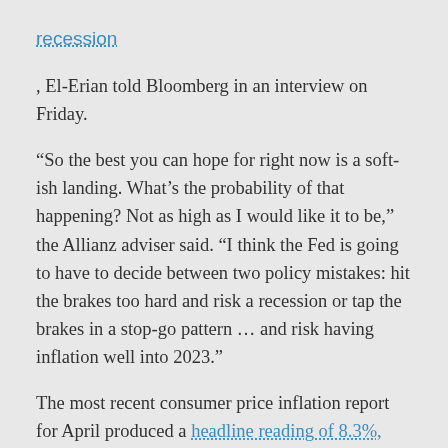recession
, El-Erian told Bloomberg in an interview on Friday.
“So the best you can hope for right now is a soft-ish landing. What’s the probability of that happening? Not as high as I would like it to be,” the Allianz adviser said. “I think the Fed is going to have to decide between two policy mistakes: hit the brakes too hard and risk a recession or tap the brakes in a stop-go pattern … and risk having inflation well into 2023.”
The most recent consumer price inflation report for April produced a headline reading of 8.3%, down from 8.5% in March but inflation was still sticking around 40-year highs. Gross domestic product shrank by 1.5%